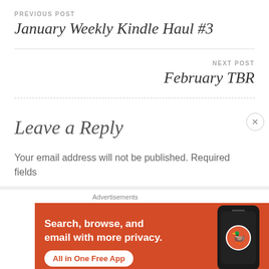PREVIOUS POST
January Weekly Kindle Haul #3
NEXT POST
February TBR
Leave a Reply
Your email address will not be published. Required fields
[Figure (screenshot): DuckDuckGo advertisement banner with orange background. Text: 'Search, browse, and email with more privacy. All in One Free App' with DuckDuckGo logo and phone mockup image. Small 'Advertisements' label above.]